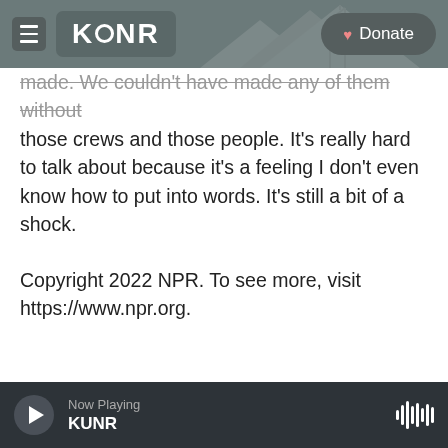KUNR | Donate
made. We couldn't have made any of them without those crews and those people. It's really hard to talk about because it's a feeling I don't even know how to put into words. It's still a bit of a shock.
Copyright 2022 NPR. To see more, visit https://www.npr.org.
[Figure (infographic): Social sharing buttons: Facebook (f), Twitter (bird icon), LinkedIn (in), Email (envelope icon)]
[Figure (photo): Headshot photo of Michel Martin]
Michel Martin
Michel Martin is the weekend host of All
Now Playing KUNR